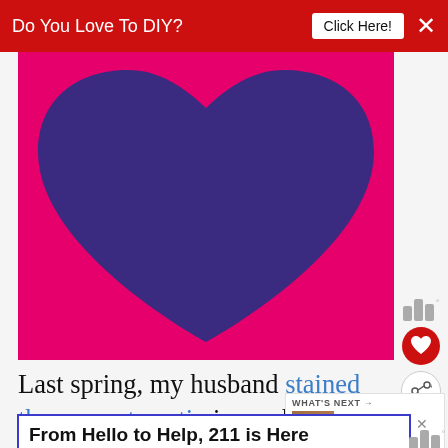Do You Love To DIY?  Click Here!  ×
[Figure (illustration): Pink background with a large dark purple heart shape centered on it]
Last spring, my husband stained the concrete patio in our backyard to up and I shared the process in a lengthy
[Figure (infographic): What's Next panel: Decorating Cheats ~... with thumbnail image]
[Figure (infographic): Bottom advertisement banner: From Hello to Help, 211 is Here — Food · Housing]